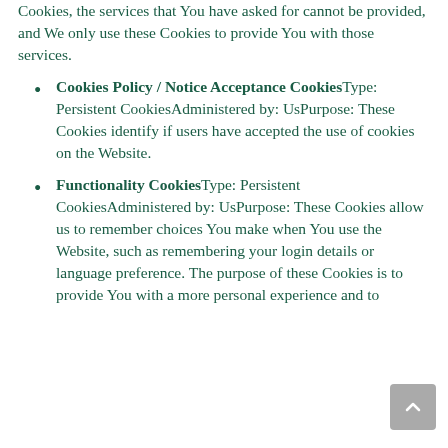Cookies, the services that You have asked for cannot be provided, and We only use these Cookies to provide You with those services.
Cookies Policy / Notice Acceptance CookiesType: Persistent CookiesAdministered by: UsPurpose: These Cookies identify if users have accepted the use of cookies on the Website.
Functionality CookiesType: Persistent CookiesAdministered by: UsPurpose: These Cookies allow us to remember choices You make when You use the Website, such as remembering your login details or language preference. The purpose of these Cookies is to provide You with a more personal experience and to